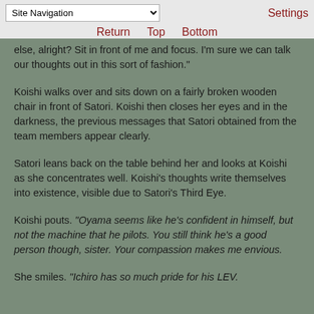Site Navigation | Settings | Return | Top | Bottom
else, alright? Sit in front of me and focus. I'm sure we can talk our thoughts out in this sort of fashion."
Koishi walks over and sits down on a fairly broken wooden chair in front of Satori. Koishi then closes her eyes and in the darkness, the previous messages that Satori obtained from the team members appear clearly.
Satori leans back on the table behind her and looks at Koishi as she concentrates well. Koishi's thoughts write themselves into existence, visible due to Satori's Third Eye.
Koishi pouts. "Oyama seems like he's confident in himself, but not the machine that he pilots. You still think he's a good person though, sister. Your compassion makes me envious.
She smiles. "Ichiro has so much pride for his LEV.